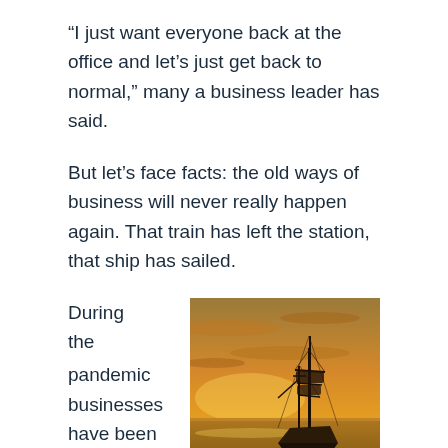“I just want everyone back at the office and let’s just get back to normal,” many a business leader has said.
But let’s face facts: the old ways of business will never really happen again. That train has left the station, that ship has sailed.
During the
[Figure (photo): A tall sailing ship on calm water at sunset with an orange and golden sky]
pandemic businesses have been exposed to the possibilities of remote work. Many workers